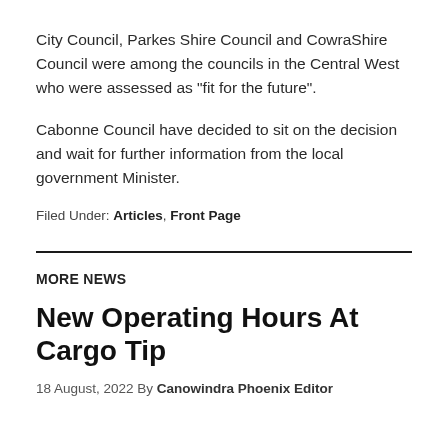City Council, Parkes Shire Council and CowraShire Council were among the councils in the Central West who were assessed as "fit for the future".
Cabonne Council have decided to sit on the decision and wait for further information from the local government Minister.
Filed Under: Articles, Front Page
MORE NEWS
New Operating Hours At Cargo Tip
18 August, 2022 By Canowindra Phoenix Editor